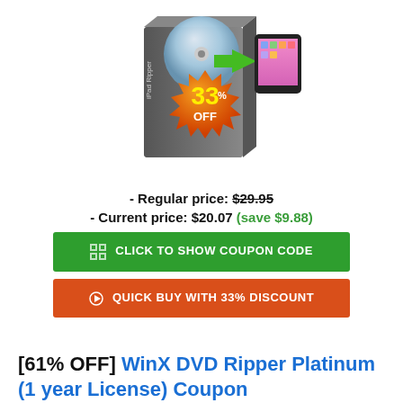[Figure (illustration): Product box art for 'iPad Ripper' software showing a DVD disc transferring to a tablet device, with an orange starburst badge showing '33% OFF']
- Regular price: $29.95
- Current price: $20.07 (save $9.88)
CLICK TO SHOW COUPON CODE
QUICK BUY WITH 33% DISCOUNT
[61% OFF] WinX DVD Ripper Platinum (1 year License) Coupon